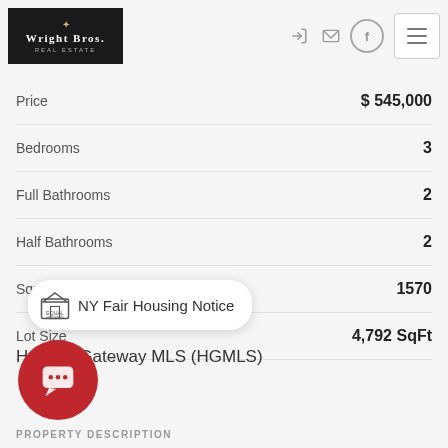[Figure (logo): Wright Bros. Real Estate logo — white text on black background with decorative emblem]
| Property Detail | Value |
| --- | --- |
| Price | $545,000 |
| Bedrooms | 3 |
| Full Bathrooms | 2 |
| Half Bathrooms | 2 |
| Sqr Footage | 1570 |
| Lot Size | 4,792 SqFt |
NY Fair Housing Notice
Hudson Gateway MLS (HGMLS)
PROPERTY DESCRIPTION